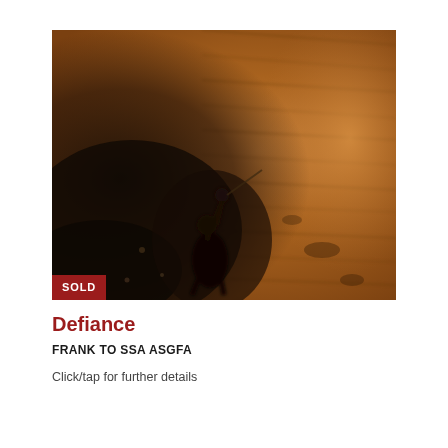[Figure (illustration): A dramatic painting showing a figure in battle or defiance pose, set against a warm brown/amber wooden background. The left side is dark with smoky, dramatic figures; the right side shows the warm wood texture in lighter tones. A red 'SOLD' badge is overlaid on the bottom-left corner of the image.]
Defiance
FRANK TO SSA ASGFA
Click/tap for further details